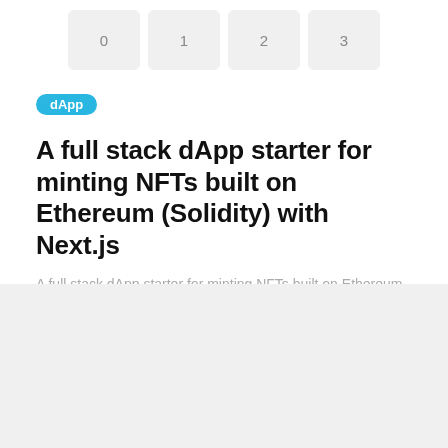[Figure (other): Navigation thumbnails showing four numbered items: 0, 1, 2, 3 as grey boxes]
dApp
A full stack dApp starter for minting NFTs built on Ethereum (Solidity) with Next.js
A full stack dApp starter for minting NFTs built on Ethereum (Solidity) with Next.js
27 JUNE 2022